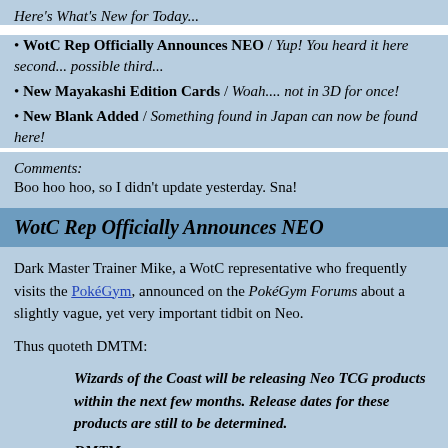Here's What's New for Today...
WotC Rep Officially Announces NEO / Yup! You heard it here second... possible third...
New Mayakashi Edition Cards / Woah.... not in 3D for once!
New Blank Added / Something found in Japan can now be found here!
Comments:
Boo hoo hoo, so I didn't update yesterday. Sna!
WotC Rep Officially Announces NEO
Dark Master Trainer Mike, a WotC representative who frequently visits the PokéGym, announced on the PokéGym Forums about a slightly vague, yet very important tidbit on Neo.
Thus quoteth DMTM:
Wizards of the Coast will be releasing Neo TCG products within the next few months. Release dates for these products are still to be determined.
DMTM
Within the next few months? Does this mean we might see Neo 1 in December, Neo 2 in February, and Neo 3 in April?? Could we also see a WotC/MF combined set in fall 2001?? [Yiddish accent] Who